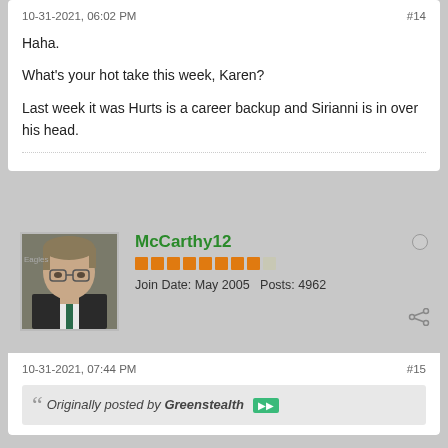10-31-2021, 06:02 PM
#14
Haha.

What's your hot take this week, Karen?

Last week it was Hurts is a career backup and Sirianni is in over his head.
[Figure (photo): Profile photo of forum user McCarthy12, a man with glasses and gray-brown hair in a dark suit]
McCarthy12
Join Date: May 2005   Posts: 4962
10-31-2021, 07:44 PM
#15
Originally posted by Greenstealth